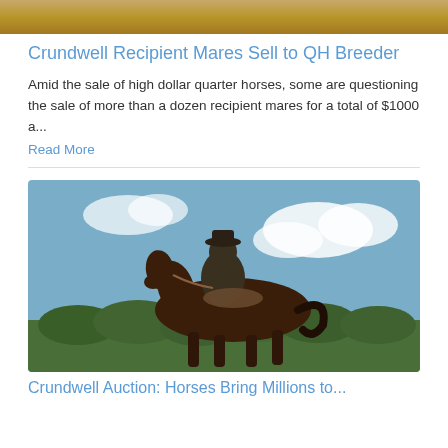[Figure (photo): Top portion of a photo showing sandy/dirt ground, cropped at top of page]
Crundwell Recipient Mares Sell to QH Breeder
Amid the sale of high dollar quarter horses, some are questioning the sale of more than a dozen recipient mares for a total of $1000 a...
Read More
[Figure (photo): A person riding a dark brown horse in a field with green trees and blue sky in the background]
Crundwell Auction: Horses Bring Millions to...